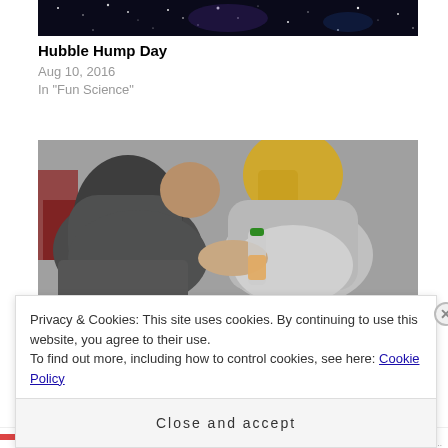[Figure (photo): Hubble telescope image showing stars and galaxies against dark space background]
Hubble Hump Day
Aug 10, 2016
In "Fun Science"
[Figure (photo): Two overweight people sitting, one placing hand on the other's stomach, with a water bottle visible between them]
Privacy & Cookies: This site uses cookies. By continuing to use this website, you agree to their use.
To find out more, including how to control cookies, see here: Cookie Policy
Close and accept